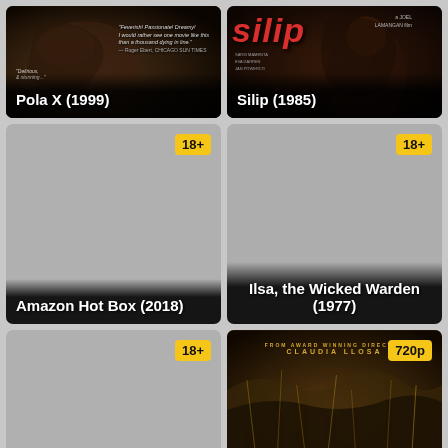[Figure (photo): Movie poster card for Pola X (1999), dark moody image with quote overlay]
[Figure (photo): Movie poster card for Silip (1985), red title text overlay, portrait of woman]
[Figure (photo): Gray placeholder card for Amazon Hot Box (2018) with 18+ badge]
[Figure (photo): Gray placeholder card for Ilsa, the Wicked Warden (1977) with 18+ badge]
[Figure (photo): Gray placeholder card bottom left with 18+ badge]
[Figure (photo): Movie poster card bottom right with 720p badge, Claudia Llosa director credit, brown/golden background]